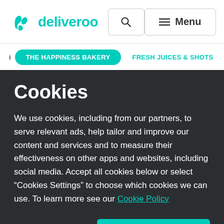deliveroo
THE HAPPINESS BAKERY    FRESH JUICES & SHOTS
Cookies
We use cookies, including from our partners, to serve relevant ads, help tailor and improve our content and services and to measure their effectiveness on other apps and websites, including social media. Accept all cookies below or select “Cookies Settings” to choose which cookies we can use. To learn more see our Cookie Policy
Cookies Settings
Accept All Cookies